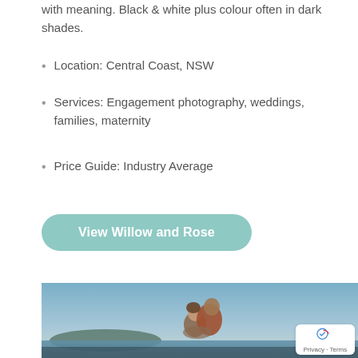with meaning. Black & white plus colour often in dark shades.
Location: Central Coast, NSW
Services: Engagement photography, weddings, families, maternity
Price Guide: Industry Average
View Willow and Rose
[Figure (photo): A couple embracing outdoors near the ocean at dusk, with a blue sky and hills in the background. The woman is smiling and the man is leaning in close from behind.]